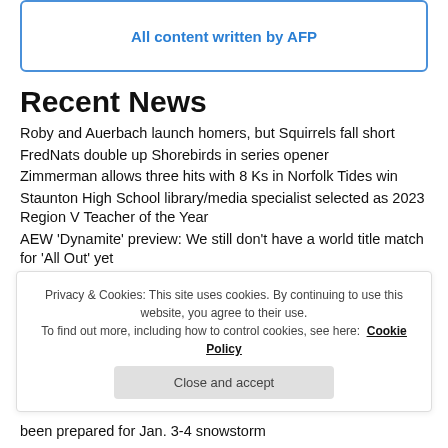All content written by AFP
Recent News
Roby and Auerbach launch homers, but Squirrels fall short
FredNats double up Shorebirds in series opener
Zimmerman allows three hits with 8 Ks in Norfolk Tides win
Staunton High School library/media specialist selected as 2023 Region V Teacher of the Year
AEW 'Dynamite' preview: We still don't have a world title match for 'All Out' yet
Privacy & Cookies: This site uses cookies. By continuing to use this website, you agree to their use. To find out more, including how to control cookies, see here: Cookie Policy
been prepared for Jan. 3-4 snowstorm